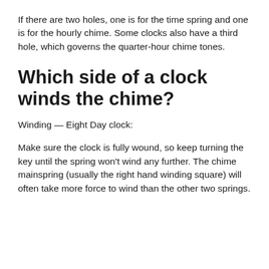If there are two holes, one is for the time spring and one is for the hourly chime. Some clocks also have a third hole, which governs the quarter-hour chime tones.
Which side of a clock winds the chime?
Winding — Eight Day clock:
Make sure the clock is fully wound, so keep turning the key until the spring won't wind any further. The chime mainspring (usually the right hand winding square) will often take more force to wind than the other two springs.